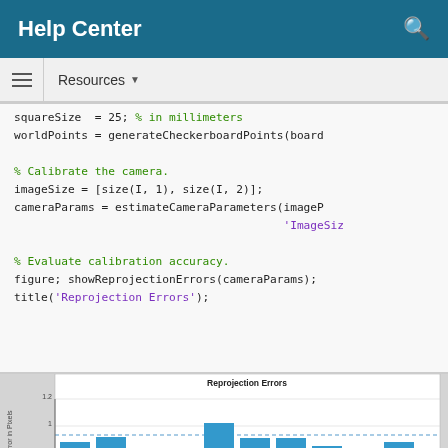Help Center
Resources ▼
squareSize = 25; % in millimeters
worldPoints = generateCheckerboardPoints(board

% Calibrate the camera.
imageSize = [size(I, 1), size(I, 2)];
cameraParams = estimateCameraParameters(imageP...
                                        'ImageSiz

% Evaluate calibration accuracy.
figure; showReprojectionErrors(cameraParams);
title('Reprojection Errors');
[Figure (bar-chart): Reprojection Errors]